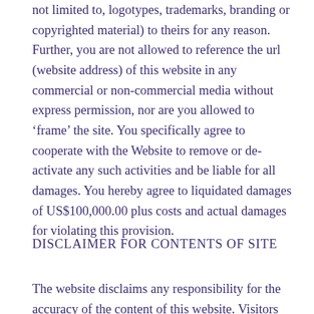not limited to, logotypes, trademarks, branding or copyrighted material) to theirs for any reason. Further, you are not allowed to reference the url (website address) of this website in any commercial or non-commercial media without express permission, nor are you allowed to 'frame' the site. You specifically agree to cooperate with the Website to remove or de-activate any such activities and be liable for all damages. You hereby agree to liquidated damages of US$100,000.00 plus costs and actual damages for violating this provision.
DISCLAIMER FOR CONTENTS OF SITE
The website disclaims any responsibility for the accuracy of the content of this website. Visitors